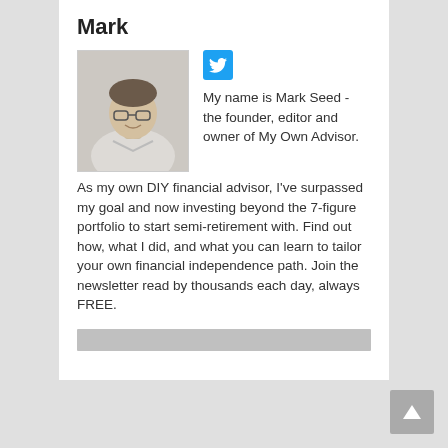Mark
[Figure (photo): Headshot photo of Mark Seed, a man with glasses and short hair, smiling, wearing a light-colored shirt]
[Figure (logo): Twitter bird icon button (blue square with white bird)]
My name is Mark Seed - the founder, editor and owner of My Own Advisor. As my own DIY financial advisor, I've surpassed my goal and now investing beyond the 7-figure portfolio to start semi-retirement with. Find out how, what I did, and what you can learn to tailor your own financial independence path. Join the newsletter read by thousands each day, always FREE.